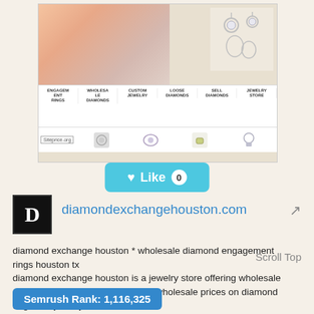[Figure (screenshot): Screenshot of diamondexchangehouston.com showing a woman in pink, jewelry images, and navigation menu with ENGAGEMENT RINGS, WHOLESALE DIAMONDS, CUSTOM JEWELRY, LOOSE DIAMONDS, SELL DIAMONDS, JEWELRY STORE. Siteprice.org badge visible.]
[Figure (other): Like button — teal rounded rectangle with heart icon, 'Like' text, and count badge showing 0]
[Figure (logo): Black square logo with white letter D for diamondexchangehouston.com]
diamondexchangehouston.com
diamond exchange houston * wholesale diamond engagement rings houston tx diamond exchange houston is a jewelry store offering wholesale diamonds and engagement rings. wholesale prices on diamond rings and jewelry.
Scroll Top
Semrush Rank: 1,116,325